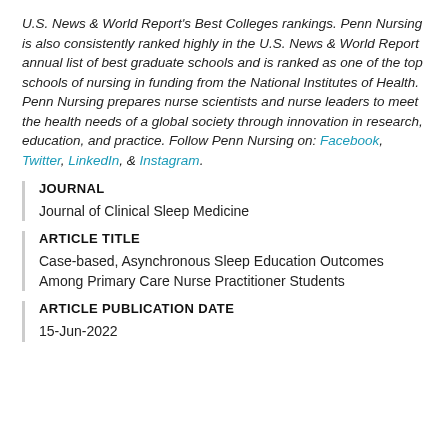U.S. News & World Report's Best Colleges rankings. Penn Nursing is also consistently ranked highly in the U.S. News & World Report annual list of best graduate schools and is ranked as one of the top schools of nursing in funding from the National Institutes of Health. Penn Nursing prepares nurse scientists and nurse leaders to meet the health needs of a global society through innovation in research, education, and practice. Follow Penn Nursing on: Facebook, Twitter, LinkedIn, & Instagram.
JOURNAL
Journal of Clinical Sleep Medicine
ARTICLE TITLE
Case-based, Asynchronous Sleep Education Outcomes Among Primary Care Nurse Practitioner Students
ARTICLE PUBLICATION DATE
15-Jun-2022